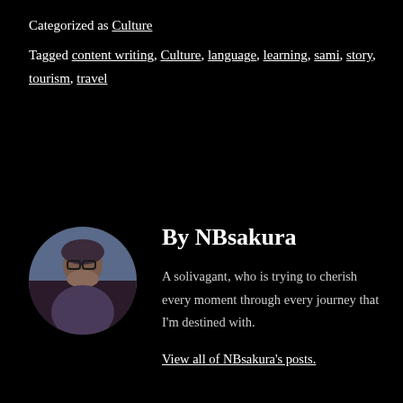Categorized as Culture
Tagged content writing, Culture, language, learning, sami, story, tourism, travel
By NBsakura
[Figure (photo): Circular avatar photo of NBsakura, a person covering their mouth with their hand, wearing glasses, outdoors.]
A solivagant, who is trying to cherish every moment through every journey that I'm destined with.
View all of NBsakura's posts.